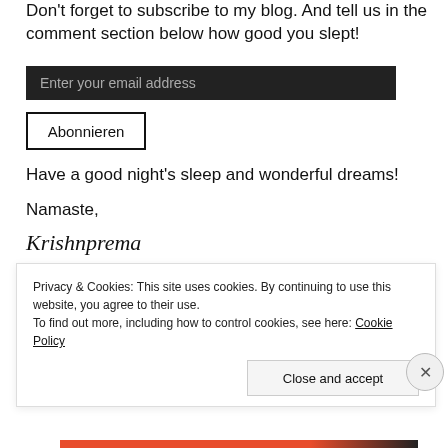Don't forget to subscribe to my blog. And tell us in the comment section below how good you slept!
Enter your email address
Abonnieren
Have a good night's sleep and wonderful dreams!
Namaste,
Krishnprema
Privacy & Cookies: This site uses cookies. By continuing to use this website, you agree to their use.
To find out more, including how to control cookies, see here: Cookie Policy
Close and accept